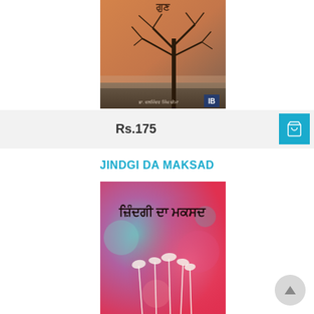[Figure (photo): Book cover of a Punjabi book showing a bare winter tree silhouette against an orange/brown sky background with Punjabi script text]
Rs.175
JINDGI DA MAKSAD
[Figure (photo): Book cover of 'Zindgi Da Maksad' (ਜ਼ਿੰਦਗੀ ਦਾ ਮਕਸਦ) showing colorful bokeh background with pink and teal colors and white wildflower/grass stalks in foreground]